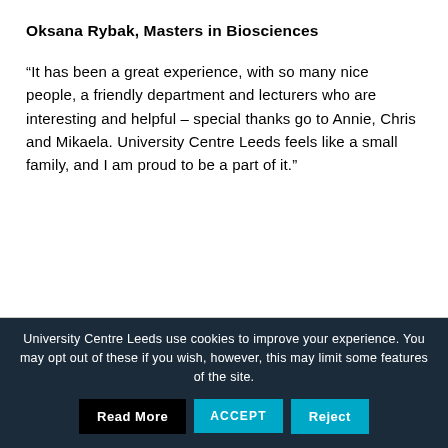Oksana Rybak, Masters in Biosciences
“It has been a great experience, with so many nice people, a friendly department and lecturers who are interesting and helpful – special thanks go to Annie, Chris and Mikaela. University Centre Leeds feels like a small family, and I am proud to be a part of it.”
University Centre Leeds use cookies to improve your experience. You may opt out of these if you wish, however, this may limit some features of the site.